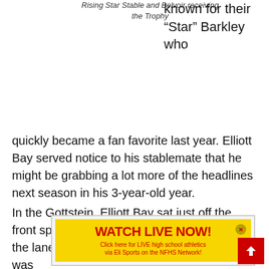Rising Star Stable and Belvoir receiving the Trophy
known for their “Star” Barkley who quickly became a fan favorite last year. Elliott Bay served notice to his stablemate that he might be grabbing a lot more of the headlines next season in his 3-year-old year.
In the Gottstein, Elliott Bay sat just off the front speed and burst to the lead at the top of the lane and although runner-up Trump Itz was
[Figure (infographic): Yellow advertisement banner reading WATCH LIVE NOW! with subtext Click here for LIVE high school athletics via Eli Sports on the NFHS Network! Red close button with X in top right corner.]